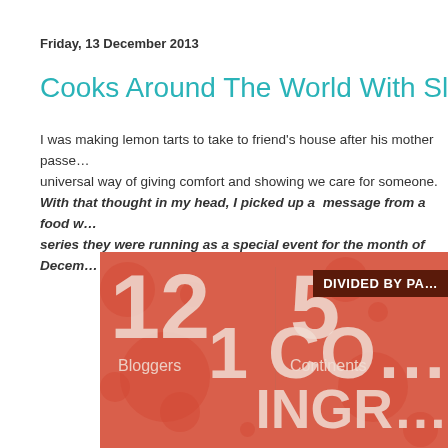Friday, 13 December 2013
Cooks Around The World With Slurrpy.com
I was making lemon tarts to take to friend's house after his mother passe… universal way of giving comfort and showing we care for someone.
With that thought in my head, I picked up a  message from a food w… series they were running as a special event for the month of Decem…
[Figure (infographic): Red infographic showing '12 Bloggers', '5 Continents', 'DIVIDED BY PA…', '1 CO…', 'INGR…' with bubble decorations]